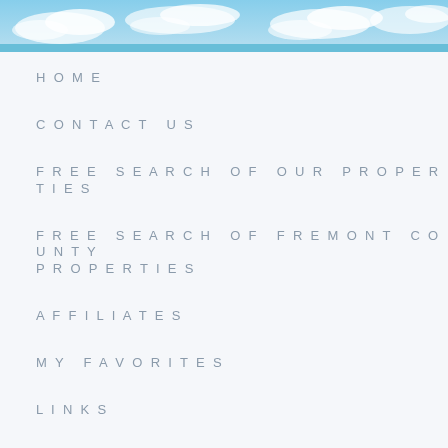[Figure (illustration): Sky and clouds banner image at top of page, blue sky with white clouds]
HOME
CONTACT US
FREE SEARCH OF OUR PROPERTIES
FREE SEARCH OF FREMONT COUNTY PROPERTIES
AFFILIATES
MY FAVORITES
LINKS
PRIVACY POLICY